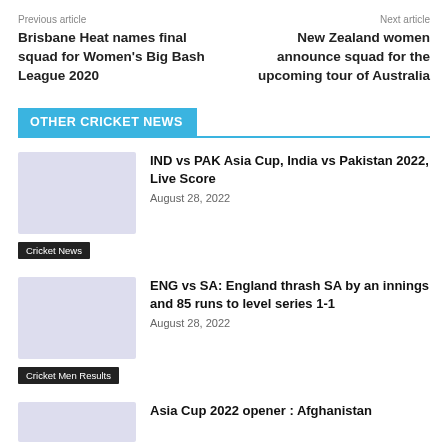Previous article
Brisbane Heat names final squad for Women's Big Bash League 2020
Next article
New Zealand women announce squad for the upcoming tour of Australia
OTHER CRICKET NEWS
IND vs PAK Asia Cup, India vs Pakistan 2022, Live Score
August 28, 2022
Cricket News
ENG vs SA: England thrash SA by an innings and 85 runs to level series 1-1
August 28, 2022
Cricket Men Results
Asia Cup 2022 opener : Afghanistan